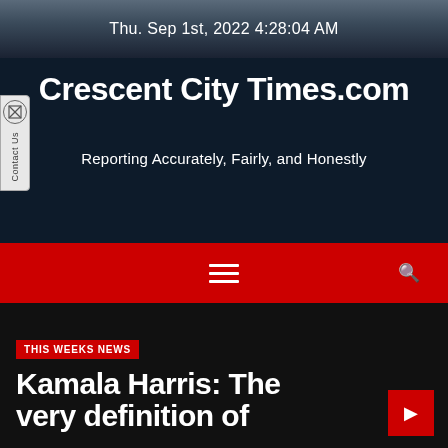Thu. Sep 1st, 2022 4:28:04 AM
Crescent City Times.com
Reporting Accurately, Fairly, and Honestly
[Figure (screenshot): Red navigation bar with hamburger menu icon and search icon]
THIS WEEKS NEWS
Kamala Harris: The very definition of